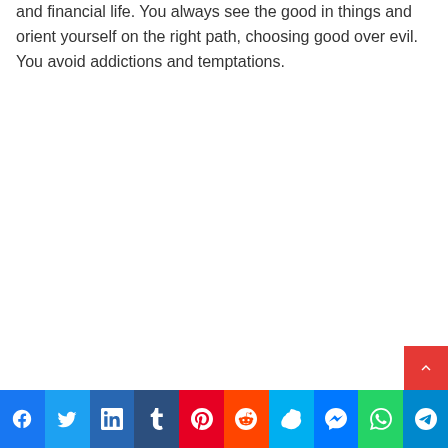and financial life. You always see the good in things and orient yourself on the right path, choosing good over evil. You avoid addictions and temptations.
Social share bar: Facebook, Twitter, LinkedIn, Tumblr, Pinterest, Reddit, Skype, Messenger, WhatsApp, Telegram